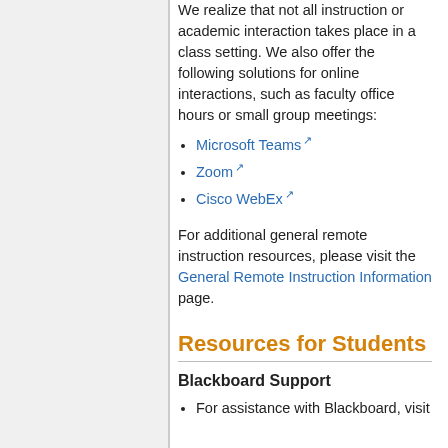We realize that not all instruction or academic interaction takes place in a class setting. We also offer the following solutions for online interactions, such as faculty office hours or small group meetings:
Microsoft Teams
Zoom
Cisco WebEx
For additional general remote instruction resources, please visit the General Remote Instruction Information page.
Resources for Students
Blackboard Support
For assistance with Blackboard, visit